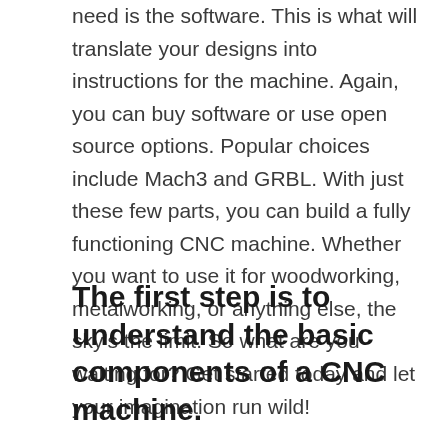need is the software. This is what will translate your designs into instructions for the machine. Again, you can buy software or use open source options. Popular choices include Mach3 and GRBL. With just these few parts, you can build a fully functioning CNC machine. Whether you want to use it for woodworking, metalworking, or anything else, the sky's the limit. So what are you waiting for? Get started today and let your imagination run wild!
The first step is to understand the basic components of a CNC machine.